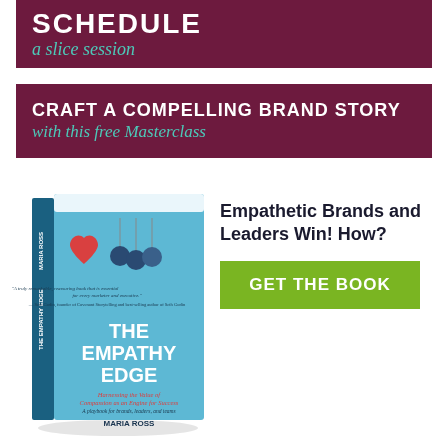[Figure (infographic): Dark maroon banner with white bold text 'SCHEDULE' and teal italic script text 'a slice session']
[Figure (infographic): Dark maroon banner with white bold text 'CRAFT A COMPELLING BRAND STORY' and teal italic script text 'with this free Masterclass']
[Figure (illustration): Book cover of 'The Empathy Edge' by Maria Ross — light blue cover with a red heart and three dark blue pendulum balls, subtitle: Harnessing the Value of Compassion as an Engine for Success. A playbook for brands, leaders, and teams.]
Empathetic Brands and Leaders Win! How?
GET THE BOOK